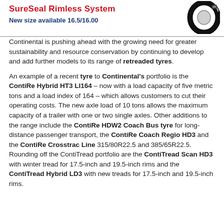SureSeal Rimless System
New size available 16.5/16.00
[Figure (photo): Black circular tyre ring viewed from the side, SureSeal Rimless System product image]
Continental is pushing ahead with the growing need for greater sustainability and resource conservation by continuing to develop and add further models to its range of retreaded tyres.
An example of a recent tyre to Continental's portfolio is the ContiRe Hybrid HT3 LI164 – now with a load capacity of five metric tons and a load index of 164 – which allows customers to cut their operating costs. The new axle load of 10 tons allows the maximum capacity of a trailer with one or two single axles. Other additions to the range include the ContiRe HDW2 Coach Bus tyre for long-distance passenger transport, the ContiRe Coach Regio HD3 and the ContiRe Crosstrac Line 315/80R22.5 and 385/65R22.5. Rounding off the ContiTread portfolio are the ContiTread Scan HD3 with winter tread for 17.5-inch and 19.5-inch rims and the ContiTread Hybrid LD3 with new treads for 17.5-inch and 19.5-inch rims.